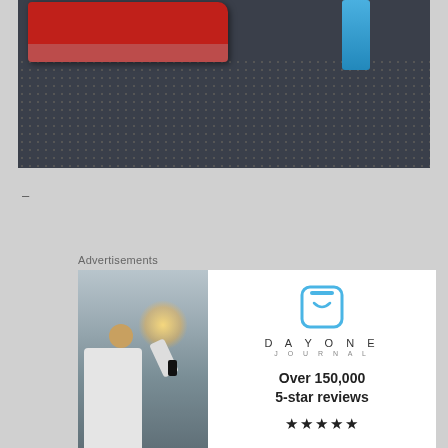[Figure (photo): Close-up photo of a red toy car and a blue card on a dark textured surface with raised dot pattern]
–
Advertisements
[Figure (photo): Person photographing a sunset with a smartphone]
[Figure (logo): Day One Journal advertisement with logo, text 'Over 150,000 5-star reviews' and five stars]